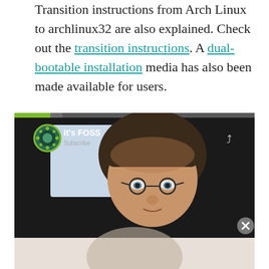Transition instructions from Arch Linux to archlinux32 are also explained. Check out the transition instructions. A dual-bootable installation media has also been made available for users.
[Figure (screenshot): Embedded video player showing It's FOSS YouTube channel with a man's face visible, and a Disney Bundle advertisement overlay at the bottom]